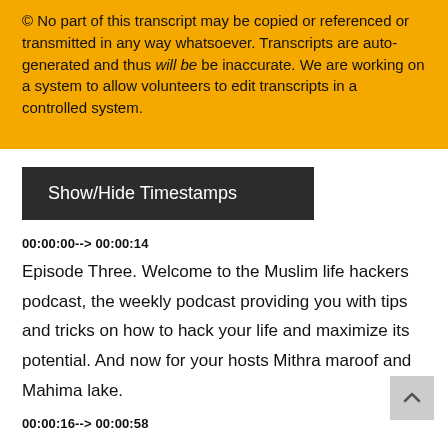© No part of this transcript may be copied or referenced or transmitted in any way whatsoever. Transcripts are auto-generated and thus will be be inaccurate. We are working on a system to allow volunteers to edit transcripts in a controlled system.
Show/Hide Timestamps
00:00:00--> 00:00:14
Episode Three. Welcome to the Muslim life hackers podcast, the weekly podcast providing you with tips and tricks on how to hack your life and maximize its potential. And now for your hosts Mithra maroof and Mahima lake.
00:00:16--> 00:00:58